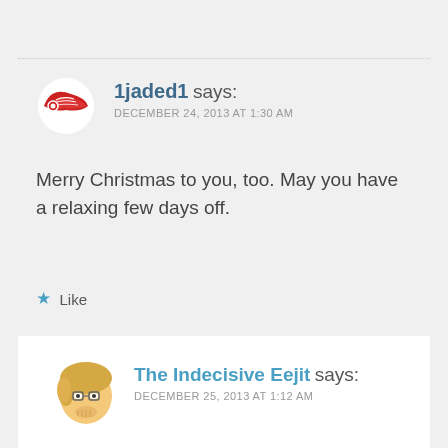[Figure (illustration): Detroit Red Wings logo (red wing icon) used as commenter avatar for 1jaded1]
1jaded1 says:
DECEMBER 24, 2013 AT 1:30 AM
Merry Christmas to you, too. May you have a relaxing few days off.
★ Like
REPLY ↩
[Figure (illustration): Cartoon avatar of a person with blonde hair and glasses for The Indecisive Eejit]
The Indecisive Eejit says:
DECEMBER 25, 2013 AT 1:12 AM
Thank you and same to you, lets hope it is stress